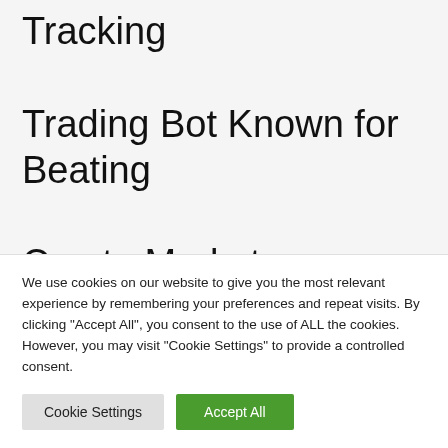Tracking Trading Bot Known for Beating Crypto Markets Allocates to Solana (SOL), Cardano (ADA),
We use cookies on our website to give you the most relevant experience by remembering your preferences and repeat visits. By clicking "Accept All", you consent to the use of ALL the cookies. However, you may visit "Cookie Settings" to provide a controlled consent.